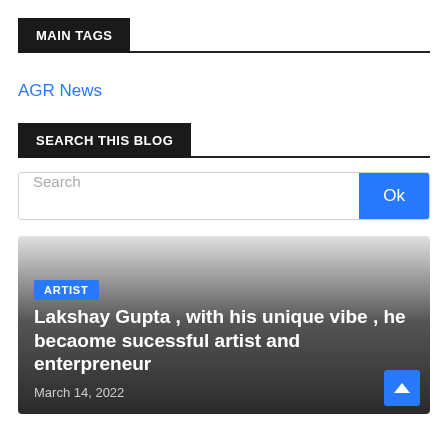MAIN TAGS
AGR News
SEARCH THIS BLOG
Search
[Figure (screenshot): Article card with gradient background showing artist tag, article title 'Lakshay Gupta , with his unique vibe , he becaome sucessful artist and enterpreneur', and date March 14, 2022]